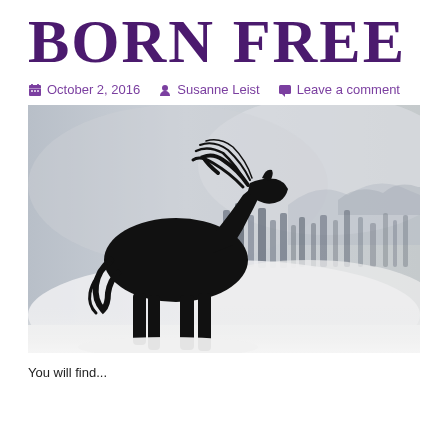BORN FREE
📅 October 2, 2016   👤 Susanne Leist   💬 Leave a comment
[Figure (photo): Black silhouette of a horse standing in a misty, foggy landscape with dark rock formations or trees visible in the foggy background. The horse's mane is blowing in the wind. The image is black and white / grayscale.]
You will find...